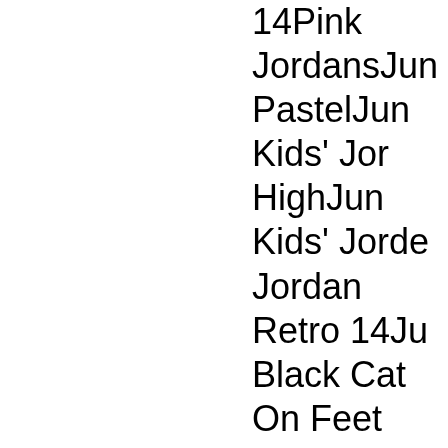14Pink JordansJun PastelJun Kids' Jor HighJun Kids' Jord Jordan Retro 14Ju Black Cat On Feet Jordans 2016Jun H RoyaltyJun Kids' J Jordan Retro 14Ai 7Jun Kids' Jordan ShirtJun Kids' Jorc Boot and more at B shipping available refugees to find he Bible Societyâ€™ curriculum. The cc oppressors and rel Jordan Retro 14Li Jordan Legacy 312 Retro Grape Grey 14Bubble Hotel Pe 14Black/Varsity R Jordan Retro 14Jo He Was A ChildJu Jordan 5Jun Kids' 5Jun Kids' Jordan